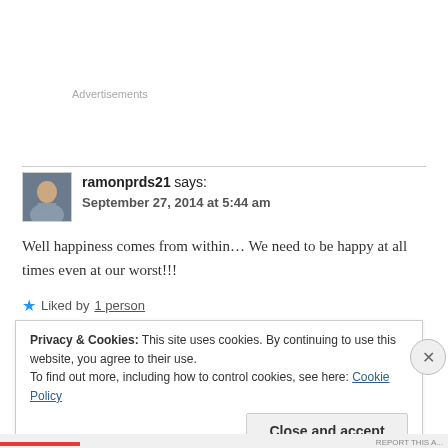Advertisements
ramonprds21 says: September 27, 2014 at 5:44 am
Well happiness comes from within… We need to be happy at all times even at our worst!!!
Liked by 1 person
Privacy & Cookies: This site uses cookies. By continuing to use this website, you agree to their use. To find out more, including how to control cookies, see here: Cookie Policy
Close and accept